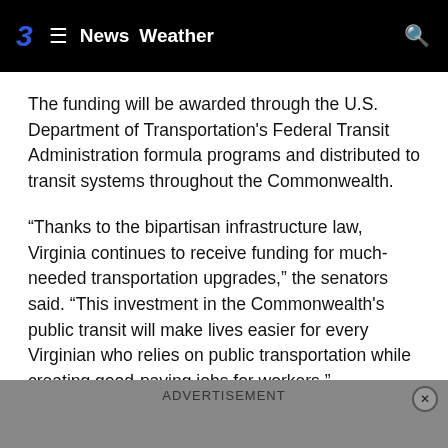3  ≡  News  Weather  🔍
The funding will be awarded through the U.S. Department of Transportation's Federal Transit Administration formula programs and distributed to transit systems throughout the Commonwealth.
“Thanks to the bipartisan infrastructure law, Virginia continues to receive funding for much-needed transportation upgrades,” the senators said. “This investment in the Commonwealth's public transit will make lives easier for every Virginian who relies on public transportation while creating good-paying jobs for workers.”
ADVERTISEMENT